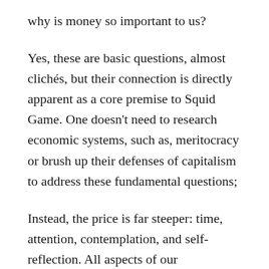why is money so important to us?
Yes, these are basic questions, almost clichés, but their connection is directly apparent as a core premise to Squid Game. One doesn't need to research economic systems, such as, meritocracy or brush up their defenses of capitalism to address these fundamental questions;
Instead, the price is far steeper: time, attention, contemplation, and self-reflection. All aspects of our consciousness requiring more start-up energy than becoming emotionally charged with some sort of righteous indigitation for economic systems. Strangely, it's almost as if we'd prefer to engage in